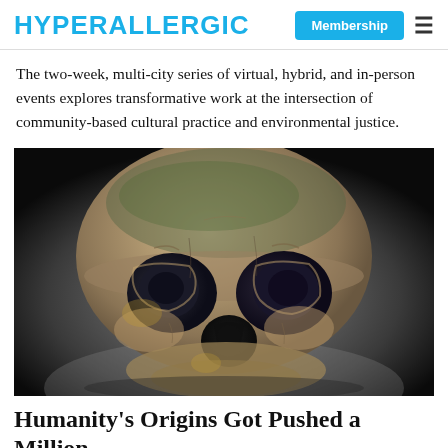HYPERALLERGIC | Membership ≡
The two-week, multi-city series of virtual, hybrid, and in-person events explores transformative work at the intersection of community-based cultural practice and environmental justice.
[Figure (photo): Close-up frontal photograph of an ancient hominid skull fossil against a dark/gradient background. The fossil shows large eye sockets, flattened nasal area, and weathered bone texture.]
Humanity's Origins Got Pushed a Million